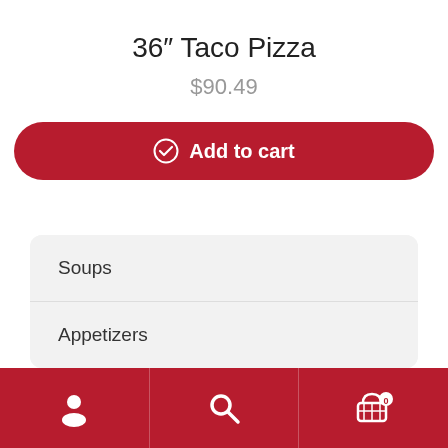36″ Taco Pizza
$90.49
Add to cart
Soups
Appetizers
User | Search | Cart (0)